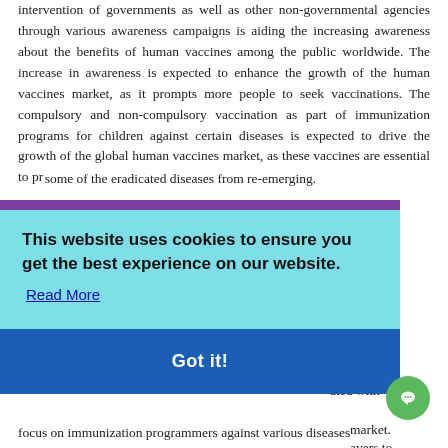intervention of governments as well as other non-governmental agencies through various awareness campaigns is aiding the increasing awareness about the benefits of human vaccines among the public worldwide. The increase in awareness is expected to enhance the growth of the human vaccines market, as it prompts more people to seek vaccinations. The compulsory and non-compulsory vaccination as part of immunization programs for children against certain diseases is expected to drive the growth of the global human vaccines market, as these vaccines are essential to prevent some of the eradicated diseases from re-emerging. ... such as ... vaccines ... e global ... Stringent ... ted with ... market. ... ayers to ... erns ... focus on immunization programmers against various diseases
[Figure (screenshot): Cookie consent banner overlay with teal/cyan background, purple top bar, bold message 'This website uses cookies to ensure you get the best experience on our website.', a 'Read More' link, and a blue 'Got it!' button.]